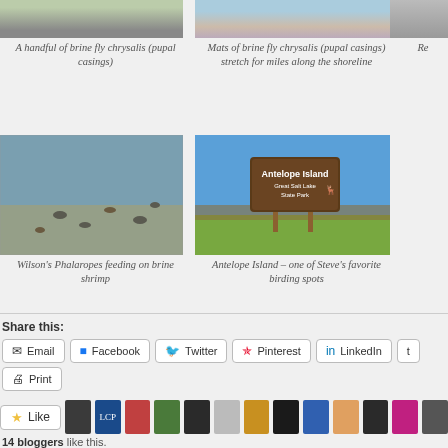[Figure (photo): A hand holding brine fly chrysalis (pupal casings), partially cropped at top]
A handful of brine fly chrysalis (pupal casings)
[Figure (photo): Mats of brine fly chrysalis (pupal casings) along the shoreline]
Mats of brine fly chrysalis (pupal casings) stretch for miles along the shoreline
[Figure (photo): Partially cropped third photo, caption beginning with Re]
Re
[Figure (photo): Wilson's Phalaropes feeding on brine shrimp at the Great Salt Lake]
Wilson's Phalaropes feeding on brine shrimp
[Figure (photo): Antelope Island Great Salt Lake State Park sign under blue sky with grassland]
Antelope Island – one of Steve's favorite birding spots
Share this:
Email
Facebook
Twitter
Pinterest
LinkedIn
T
Print
Like
14 bloggers like this.